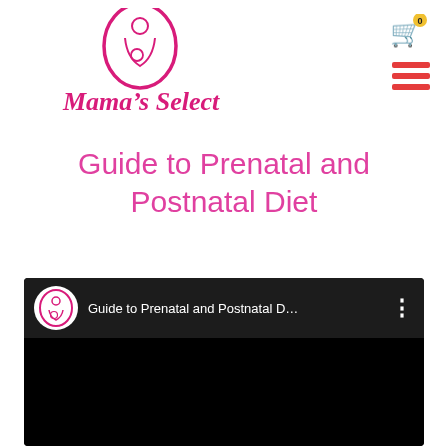[Figure (logo): Mama's Select logo: oval outline in magenta/pink with a mother and baby silhouette inside, above italic script text reading Mama's Select in pink]
Guide to Prenatal and Postnatal Diet
[Figure (screenshot): YouTube-style video player embed with black background. Top bar shows circular Mama's Select logo avatar, text 'Guide to Prenatal and Postnatal D...' and a three-dot menu icon. Below is a large black video area.]